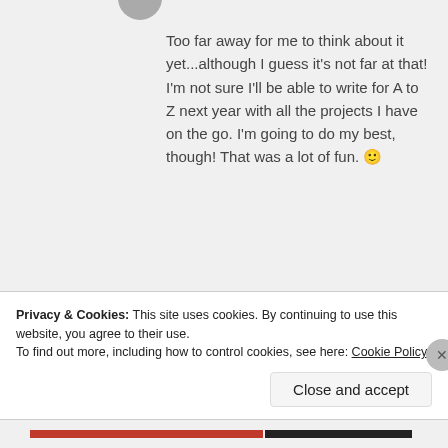Too far away for me to think about it yet...although I guess it's not far at that! I'm not sure I'll be able to write for A to Z next year with all the projects I have on the go. I'm going to do my best, though! That was a lot of fun. 🙂
Like
REPLY
Sabina says:
SEPTEMBER 23, 2015 AT 12:42 AM
Privacy & Cookies: This site uses cookies. By continuing to use this website, you agree to their use.
To find out more, including how to control cookies, see here: Cookie Policy
Close and accept